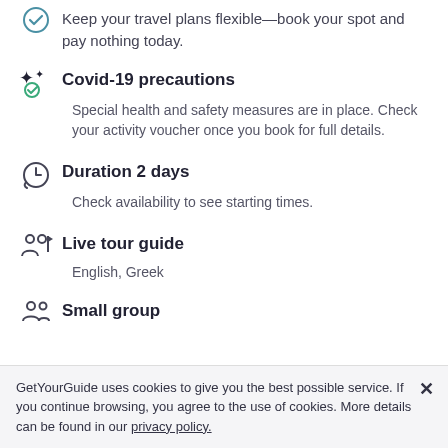Keep your travel plans flexible—book your spot and pay nothing today.
Covid-19 precautions
Special health and safety measures are in place. Check your activity voucher once you book for full details.
Duration 2 days
Check availability to see starting times.
Live tour guide
English, Greek
Small group
GetYourGuide uses cookies to give you the best possible service. If you continue browsing, you agree to the use of cookies. More details can be found in our privacy policy.